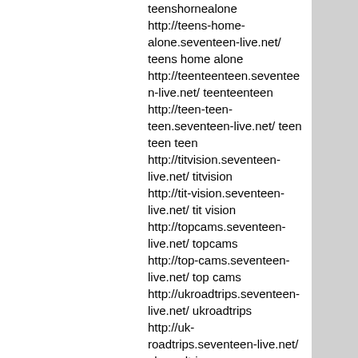teenshornealone
http://teens-home-alone.seventeen-live.net/ teens home alone
http://teenteenteen.seventeen-live.net/ teenteenteen
http://teen-teen-teen.seventeen-live.net/ teen teen teen
http://titvision.seventeen-live.net/ titvision
http://tit-vision.seventeen-live.net/ tit vision
http://topcams.seventeen-live.net/ topcams
http://top-cams.seventeen-live.net/ top cams
http://ukroadtrips.seventeen-live.net/ ukroadtrips
http://uk-roadtrips.seventeen-live.net/ uk roadtrips
http://uk-road-trips.seventeen-live.net/ uk road trips
http://upskirts.seventeen-live.net/ upskirts
http://up-skirts.seventeen-live.net/ up skirts
http://wasteland.seventeen-live.net/ wasteland
http://waste-land.seventeen-live.net/ waste land
http://wetscape.seventeen-live.net/ wetscape
http://wet-scape.seventeen-live.net/ wet scape
http://wivesexposed.seventeen-live.net/ wivesexposed
http://wives-exposed.seventeen-live.net/ wives exposed